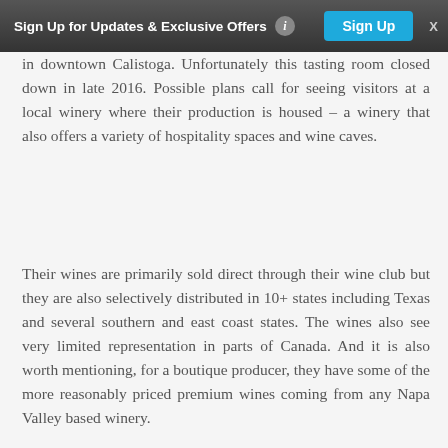Sign Up for Updates & Exclusive Offers  Sign Up  X
…shared tasting room called up Valley Wineries in downtown Calistoga. Unfortunately this tasting room closed down in late 2016. Possible plans call for seeing visitors at a local winery where their production is housed – a winery that also offers a variety of hospitality spaces and wine caves.
Their wines are primarily sold direct through their wine club but they are also selectively distributed in 10+ states including Texas and several southern and east coast states. The wines also see very limited representation in parts of Canada. And it is also worth mentioning, for a boutique producer, they have some of the more reasonably priced premium wines coming from any Napa Valley based winery.